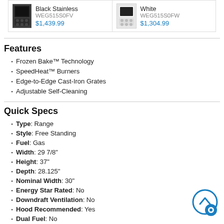| Color | Model | Price | Color | Model | Price |
| --- | --- | --- | --- | --- | --- |
| Black Stainless | WEG515S0FV | $1,439.99 | White | WEG515S0FW | $1,304.99 |
Features
Frozen Bake™ Technology
SpeedHeat™ Burners
Edge-to-Edge Cast-Iron Grates
Adjustable Self-Cleaning
Quick Specs
Type: Range
Style: Free Standing
Fuel: Gas
Width: 29 7/8"
Height: 37"
Depth: 28.125"
Nominal Width: 30"
Energy Star Rated: No
Downdraft Ventilation: No
Hood Recommended: Yes
Dual Fuel: No